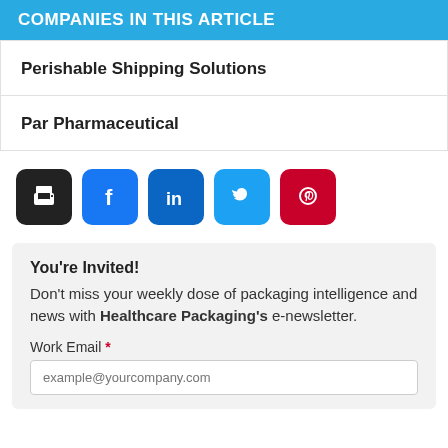COMPANIES IN THIS ARTICLE
Perishable Shipping Solutions
Par Pharmaceutical
[Figure (infographic): Row of social share buttons: print (black), Facebook (blue), LinkedIn (dark blue), Twitter (light blue), Pinterest (red)]
You're Invited!
Don't miss your weekly dose of packaging intelligence and news with Healthcare Packaging's e-newsletter.
Work Email *
example@yourcompany.com